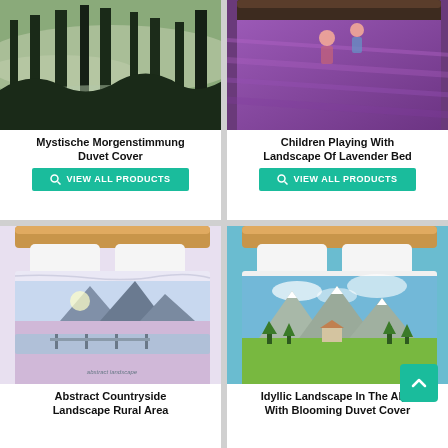[Figure (photo): Mystische Morgenstimmung duvet cover product – misty forest landscape on bed cover]
Mystische Morgenstimmung Duvet Cover
VIEW ALL PRODUCTS
[Figure (photo): Children Playing With Landscape Of Lavender bed cover product – purple lavender field with children]
Children Playing With Landscape Of Lavender Bed
VIEW ALL PRODUCTS
[Figure (photo): Abstract Countryside Landscape Rural Area duvet cover product – pastel abstract landscape with bridge]
Abstract Countryside Landscape Rural Area
[Figure (photo): Idyllic Landscape In The Alps With Blooming duvet cover product – green alpine meadow landscape]
Idyllic Landscape In The Alps With Blooming Duvet Cover